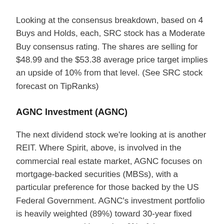Looking at the consensus breakdown, based on 4 Buys and Holds, each, SRC stock has a Moderate Buy consensus rating. The shares are selling for $48.99 and the $53.38 average price target implies an upside of 10% from that level. (See SRC stock forecast on TipRanks)
AGNC Investment (AGNC)
The next dividend stock we're looking at is another REIT. Where Spirit, above, is involved in the commercial real estate market, AGNC focuses on mortgage-backed securities (MBSs), with a particular preference for those backed by the US Federal Government. AGNC's investment portfolio is heavily weighted (89%) toward 30-year fixed rate mortgages, with another 6% of the